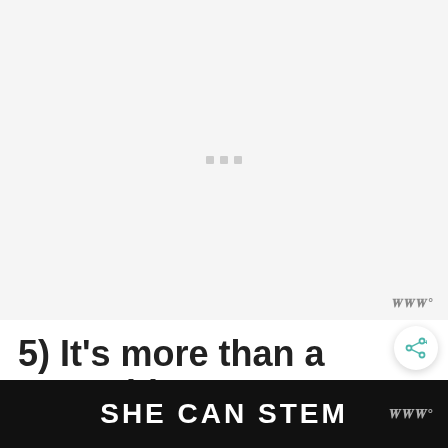[Figure (other): Large image placeholder area with three small grey loading dots in the center on a light grey background. A watermark 'www°' appears in the bottom right of the image area.]
5) It's more than a pyramid
One thing most travellers don't realize is how huge Chichén Itzá is. Su… an… it a day… Great
[Figure (other): Black banner overlay at the bottom of the page with bold white text reading 'SHE CAN STEM'. A small watermark 'www°' appears to the right side of the banner.]